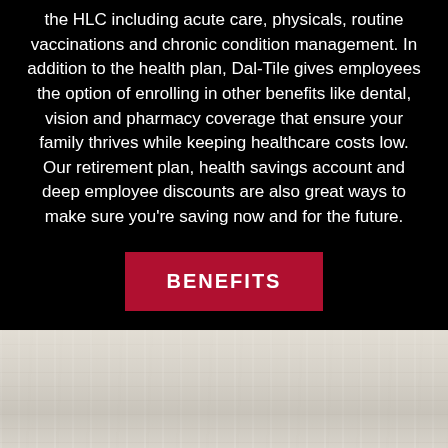the HLC including acute care, physicals, routine vaccinations and chronic condition management. In addition to the health plan, Dal-Tile gives employees the option of enrolling in other benefits like dental, vision and pharmacy coverage that ensure your family thrives while keeping healthcare costs low. Our retirement plan, health savings account and deep employee discounts are also great ways to make sure you're saving now and for the future.
[Figure (other): Red rectangular button with white text reading BENEFITS]
[Figure (photo): Light gray weathered wood texture panel at the bottom of the page]